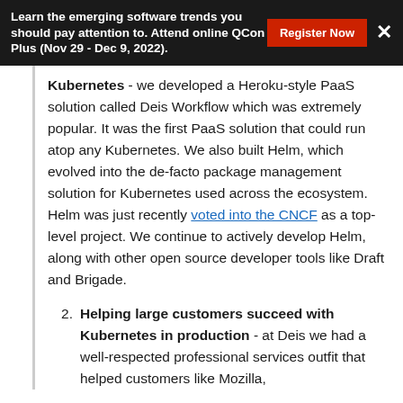Learn the emerging software trends you should pay attention to. Attend online QCon Plus (Nov 29 - Dec 9, 2022).
Kubernetes - we developed a Heroku-style PaaS solution called Deis Workflow which was extremely popular. It was the first PaaS solution that could run atop any Kubernetes. We also built Helm, which evolved into the de-facto package management solution for Kubernetes used across the ecosystem. Helm was just recently voted into the CNCF as a top-level project. We continue to actively develop Helm, along with other open source developer tools like Draft and Brigade.
2. Helping large customers succeed with Kubernetes in production - at Deis we had a well-respected professional services outfit that helped customers like Mozilla,